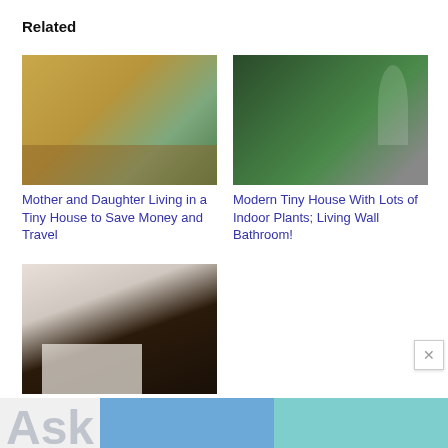Related
[Figure (photo): Exterior of a tiny house with yellow/wood siding and deck]
Mother and Daughter Living in a Tiny House to Save Money and Travel
[Figure (photo): Bathroom with living wall of indoor plants and white toilet]
Modern Tiny House With Lots of Indoor Plants; Living Wall Bathroom!
[Figure (photo): Interior of a 129 sq ft micro apartment with white furniture and dark vertical dividers]
Woman Goes Tiny in a 129 Sq. Ft. Micro Apartment